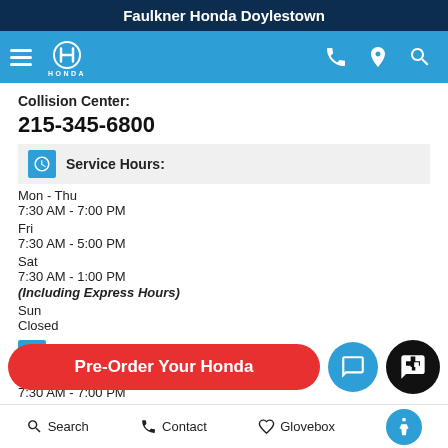Faulkner Honda Doylestown
[Figure (screenshot): Honda navigation bar with hamburger menu, Honda logo, phone, location, and search icons on blue background]
Collision Center:
215-345-6800
Service Hours:
Mon - Thu
7:30 AM - 7:00 PM
Fri
7:30 AM - 5:00 PM
Sat
7:30 AM - 1:00 PM
(Including Express Hours)
Sun
Closed
[Figure (screenshot): Pre-Order Your Honda red button with chat and widget icons]
Search  Contact  Glovebox  Accessibility